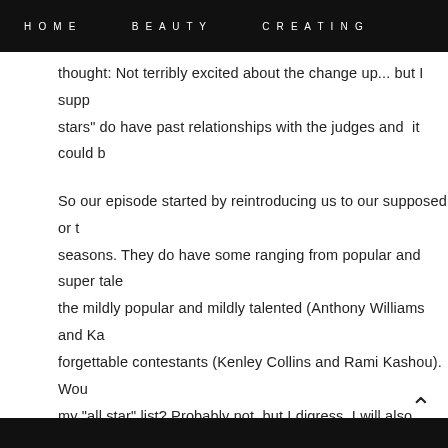HOME   BEAUTY   CREATING
thought: Not terribly excited about the change up... but I supp stars" do have past relationships with the judges and  it could b
So our episode started by reintroducing us to our supposed or t seasons. They do have some ranging from popular and super tale the mildly popular and mildly talented (Anthony Williams and Ka forgettable contestants (Kenley Collins and Rami Kashou). Wou my "all star" list? Probably not, but I digress. I will also make no was brought on specifically to be cut first. Our designers put on from home to represent themselves as a designer. Everything lo level.